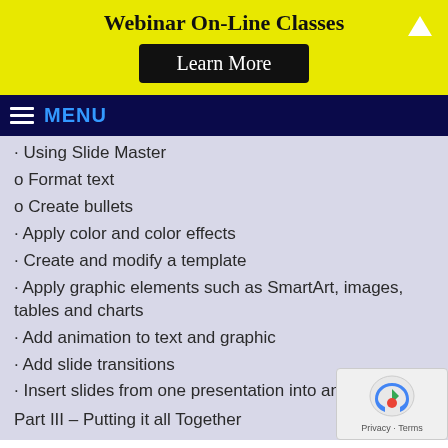Webinar On-Line Classes
Learn More
MENU
• Using Slide Master
o Format text
o Create bullets
• Apply color and color effects
• Create and modify a template
• Apply graphic elements such as SmartArt, images, tables and charts
• Add animation to text and graphic
• Add slide transitions
• Insert slides from one presentation into anot
Part III – Putting it all Together